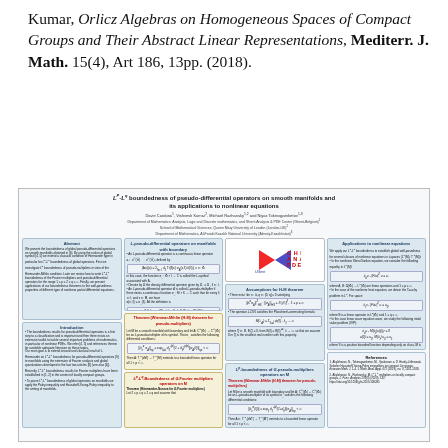Kumar, Orlicz Algebras on Homogeneous Spaces of Compact Groups and Their Abstract Linear Representations, Mediterr. J. Math. 15(4), Art 186, 13pp. (2018).
[Figure (other): Thumbnail of a scientific poster titled 'LP-Lq boundedness of pseudo-differential operators on smooth manifolds and its applications to nonlinear equations' by Davie Cardona, Vishvesh Kumar, Michael Ruzhansky, and Niyaz Tokmagambetov, with sections on Abstract, Introduction, Lp-pseudo-differential operators on manifolds with boundary, Assumptions for H-M theorem, Applications to nonlinear equations, Lp-boundedness of G-pseudo-multipliers operators on M, Lp-Lq-boundedness of G-Fourier multipliers operators on M, References, and a Ghent Analysis PDE logo.]